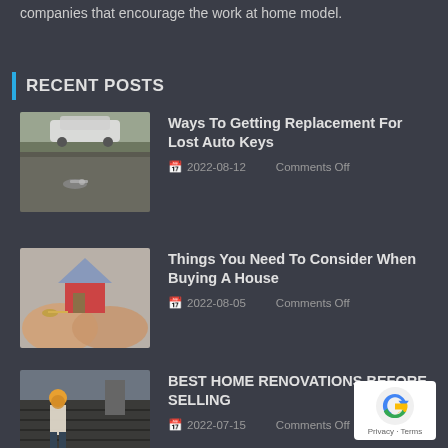companies that encourage the work at home model.
RECENT POSTS
[Figure (photo): Car keys on asphalt parking lot with white car in background]
Ways To Getting Replacement For Lost Auto Keys
2022-08-12  Comments Off
[Figure (photo): Hands holding house model and keys]
Things You Need To Consider When Buying A House
2022-08-05  Comments Off
[Figure (photo): Worker on rooftop doing home renovations]
BEST HOME RENOVATIONS BEFORE SELLING
2022-07-15  Comments Off